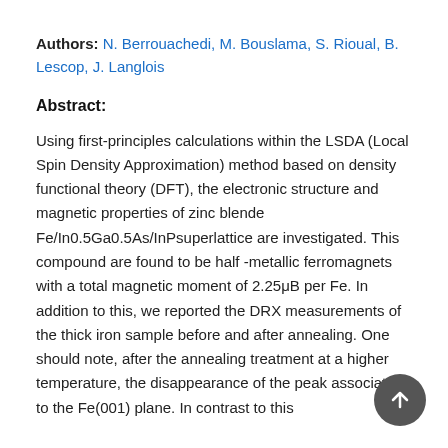Authors: N. Berrouachedi, M. Bouslama, S. Rioual, B. Lescop, J. Langlois
Abstract:
Using first-principles calculations within the LSDA (Local Spin Density Approximation) method based on density functional theory (DFT), the electronic structure and magnetic properties of zinc blende Fe/In0.5Ga0.5As/InPsuperlattice are investigated. This compound are found to be half -metallic ferromagnets with a total magnetic moment of 2.25μB per Fe. In addition to this, we reported the DRX measurements of the thick iron sample before and after annealing. One should note, after the annealing treatment at a higher temperature, the disappearance of the peak associated to the Fe(001) plane. In contrast to this